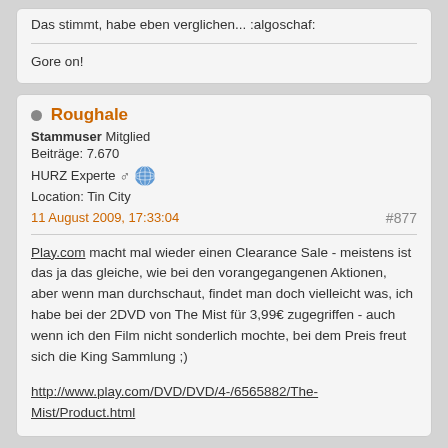Das stimmt, habe eben verglichen... :algoschaf:
Gore on!
Roughale
Stammuser Mitglied
Beiträge: 7.670
HURZ Experte
Location: Tin City
11 August 2009, 17:33:04
#877
Play.com macht mal wieder einen Clearance Sale - meistens ist das ja das gleiche, wie bei den vorangegangenen Aktionen, aber wenn man durchschaut, findet man doch vielleicht was, ich habe bei der 2DVD von The Mist für 3,99€ zugegriffen - auch wenn ich den Film nicht sonderlich mochte, bei dem Preis freut sich die King Sammlung ;)
http://www.play.com/DVD/DVD/4-/6565882/The-Mist/Product.html